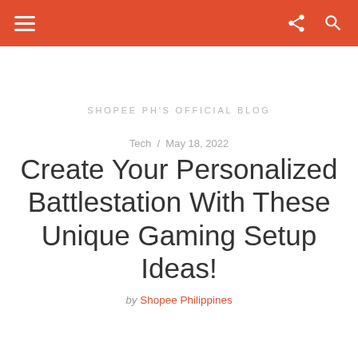SHOPEE PH'S OFFICIAL BLOG — navigation bar with hamburger menu, share icon, and search icon
SHOPEE PH'S OFFICIAL BLOG
Tech / May 18, 2022
Create Your Personalized Battlestation With These Unique Gaming Setup Ideas!
by Shopee Philippines